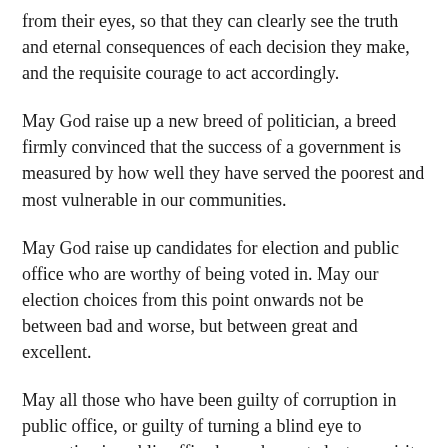from their eyes, so that they can clearly see the truth and eternal consequences of each decision they make, and the requisite courage to act accordingly.
May God raise up a new breed of politician, a breed firmly convinced that the success of a government is measured by how well they have served the poorest and most vulnerable in our communities.
May God raise up candidates for election and public office who are worthy of being voted in. May our election choices from this point onwards not be between bad and worse, but between great and excellent.
May all those who have been guilty of corruption in public office, or guilty of turning a blind eye to corruption in public office be each granted a true spirit of conversion, penance and reparation.
May those elected leaders who have betrayed electorates and colleagues and leaders for the sake of political and financial gain be given the grace to repent and to seek forgiveness and pardon from God and from all whom they have wronged.